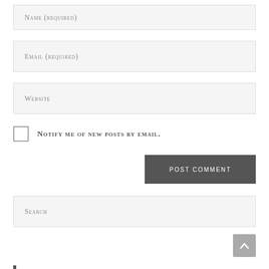Name (required)
Email (required)
Website
Notify me of new posts by email.
POST COMMENT
Search
Recent Posts